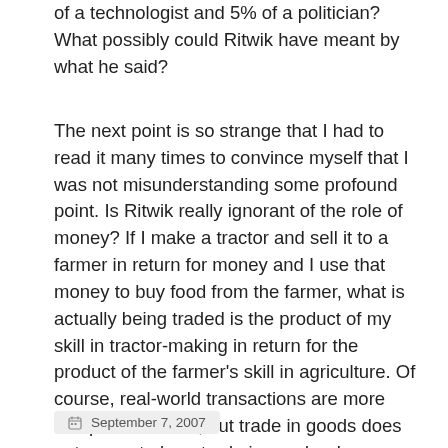of a technologist and 5% of a politician? What possibly could Ritwik have meant by what he said?
The next point is so strange that I had to read it many times to convince myself that I was not misunderstanding some profound point. Is Ritwik really ignorant of the role of money? If I make a tractor and sell it to a farmer in return for money and I use that money to buy food from the farmer, what is actually being traded is the product of my skill in tractor-making in return for the product of the farmer's skill in agriculture. Of course, real-world transactions are more complex than this, but trade in goods does not cease to be a trade in goods when money is involved. Ritwik has a good case for a refund from whoever taught him economics.
September 7, 2007